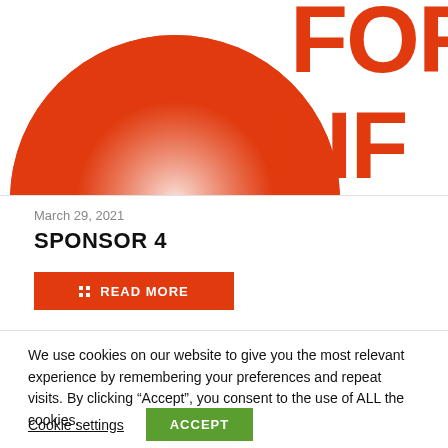[Figure (illustration): A large red halftone circle with text 'FOR LIFE' in bold red letters partially visible on the right side, on a white background.]
March 29, 2021
SPONSOR 4
READ MORE
We use cookies on our website to give you the most relevant experience by remembering your preferences and repeat visits. By clicking “Accept”, you consent to the use of ALL the cookies.
Cookie settings
ACCEPT